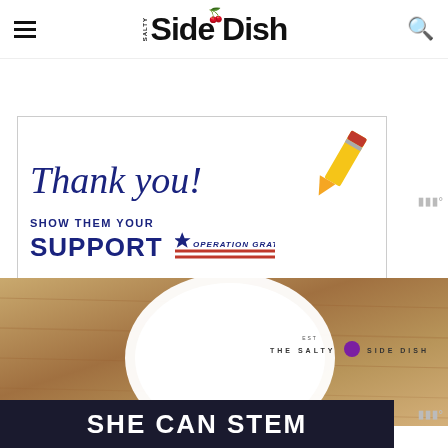Salty Side Dish
[Figure (illustration): Advertisement banner: 'Thank you! Show them your SUPPORT OPERATION GRATITUDE' with a pencil illustration and patriotic red/blue stripes]
[Figure (photo): Food photography on a wooden cutting board with a white ceramic dish and The Salty Side Dish logo overlay]
[Figure (illustration): Dark banner with white bold text reading 'SHE CAN STEM']